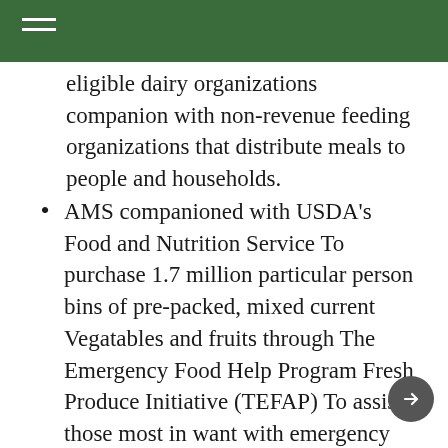eligible dairy organizations companion with non-revenue feeding organizations that distribute meals to people and households.
AMS companioned with USDA's Food and Nutrition Service To purchase 1.7 million particular person bins of pre-packed, mixed current Vegatables and fruits through The Emergency Food Help Program Fresh Produce Initiative (TEFAP) To assist those most in want with emergency meals assistance. The initiative coated 29 distributors with $13.1 million in contracts for meals packages that have been shiped to 42 states As properly as to Guam,